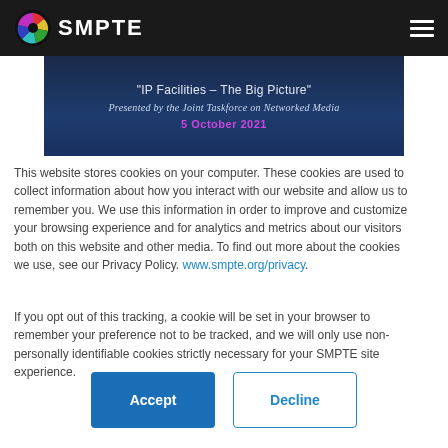SMPTE
[Figure (screenshot): SMPTE banner with text: "IP Facilities – The Big Picture" Presented by the Joint Taskforce on Networked Media, 5 October 2021]
This website stores cookies on your computer. These cookies are used to collect information about how you interact with our website and allow us to remember you. We use this information in order to improve and customize your browsing experience and for analytics and metrics about our visitors both on this website and other media. To find out more about the cookies we use, see our Privacy Policy. www.smpte.org/privacy.
If you opt out of this tracking, a cookie will be set in your browser to remember your preference not to be tracked, and we will only use non-personally identifiable cookies strictly necessary for your SMPTE site experience.